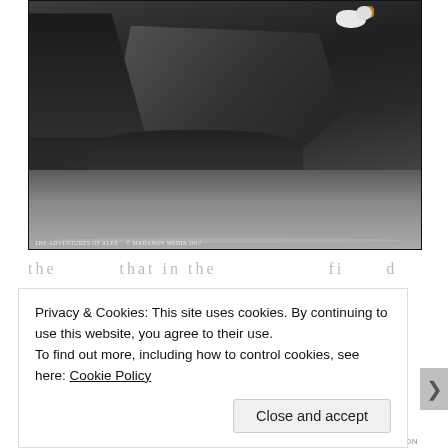[Figure (photo): Black and white photograph of rocky coastal cliffs with water at the base. A white cat or small animal with orange coloring is visible at the upper right on the rock face. Watermark reads 'The Adventures of Alex © MadAnon Media 2017'.]
the ... that in the ... ... ... fi ... d ... d
Privacy & Cookies: This site uses cookies. By continuing to use this website, you agree to their use.
To find out more, including how to control cookies, see here: Cookie Policy
Close and accept